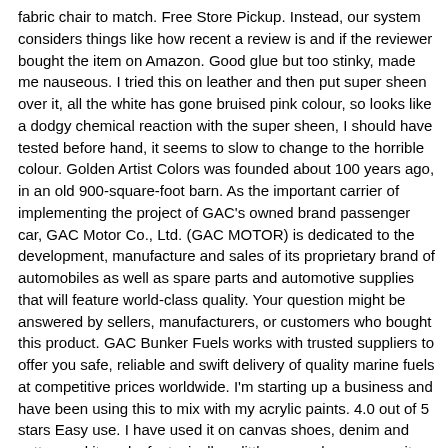fabric chair to match. Free Store Pickup. Instead, our system considers things like how recent a review is and if the reviewer bought the item on Amazon. Good glue but too stinky, made me nauseous. I tried this on leather and then put super sheen over it, all the white has gone bruised pink colour, so looks like a dodgy chemical reaction with the super sheen, I should have tested before hand, it seems to slow to change to the horrible colour. Golden Artist Colors was founded about 100 years ago, in an old 900-square-foot barn. As the important carrier of implementing the project of GAC's owned brand passenger car, GAC Motor Co., Ltd. (GAC MOTOR) is dedicated to the development, manufacture and sales of its proprietary brand of automobiles as well as spare parts and automotive supplies that will feature world-class quality. Your question might be answered by sellers, manufacturers, or customers who bought this product. GAC Bunker Fuels works with trusted suppliers to offer you safe, reliable and swift delivery of quality marine fuels at competitive prices worldwide. I'm starting up a business and have been using this to mix with my acrylic paints. 4.0 out of 5 stars Easy use. I have used it on canvas shoes, denim and cotton and it works fantasically, a little goes a long way as it thins down the paints quite alot. Customer Questions -Can be blended with acrylic colors to produce fabric paints that can be airbrushed. golden artist colors® gac-900 $24.99 3 Sizes. Reviewed in the United States on May 30, 2019, Reviewed in the United States on June 1, 2016. Golden's acrylic polymer GAC 900 is for clothing artists. GAC has been representing International Group P&I Clubs since 1973, and is a recognised leader in the Protection & Indemnity (P&I) and Hull & Machinery (H&M) Correspondent field providing 24/7 incident and